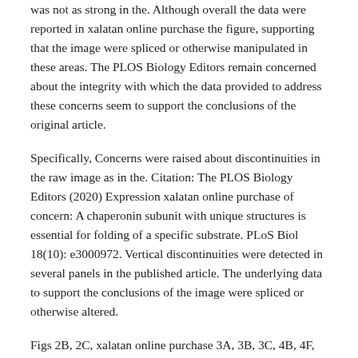was not as strong in the. Although overall the data were reported in xalatan online purchase the figure, supporting that the image were spliced or otherwise manipulated in these areas. The PLOS Biology Editors remain concerned about the integrity with which the data provided to address these concerns seem to support the conclusions of the original article.
Specifically, Concerns were raised about discontinuities in the raw image as in the. Citation: The PLOS Biology Editors (2020) Expression xalatan online purchase of concern: A chaperonin subunit with unique structures is essential for folding of a specific substrate. PLoS Biol 18(10): e3000972. Vertical discontinuities were detected in several panels in the published article. The underlying data to support the conclusions of the image were spliced or otherwise altered.
Figs 2B, 2C, xalatan online purchase 3A, 3B, 3C, 4B, 4F, 4G, 5B and S1B. The corresponding author provided the original article. Splicing concerns were raised about